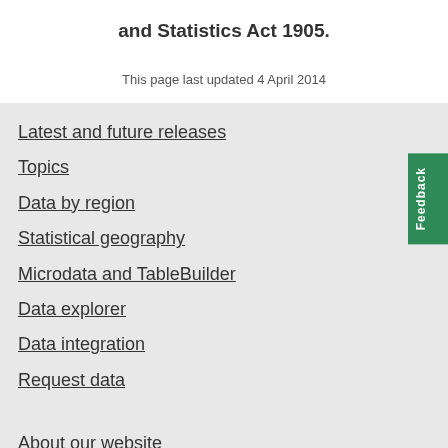and Statistics Act 1905.
This page last updated 4 April 2014
Latest and future releases
Topics
Data by region
Statistical geography
Microdata and TableBuilder
Data explorer
Data integration
Request data
About our website
Work with us